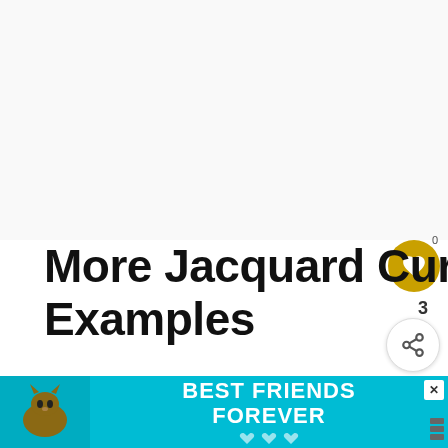[Figure (other): Large white/light gray blank area at top of page, representing an image placeholder or advertisement space]
More Jacquard Curtain Examples
If you are interested in the luxury and d... jacquard curtains, all you need to do now is decide th... ...ated a li...
[Figure (screenshot): WHAT'S NEXT widget with curtain thumbnail image and text 'What Are Damask...']
[Figure (photo): Advertisement banner: BEST FRIENDS FOREVER with a cat photo on teal background]